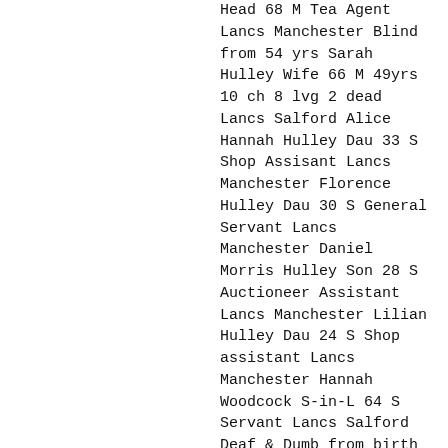Head 68 M Tea Agent Lancs Manchester Blind from 54 yrs Sarah Hulley Wife 66 M 49yrs 10 ch 8 lvg 2 dead Lancs Salford Alice Hannah Hulley Dau 33 S Shop Assisant Lancs Manchester Florence Hulley Dau 30 S General Servant Lancs Manchester Daniel Morris Hulley Son 28 S Auctioneer Assistant Lancs Manchester Lilian Hulley Dau 24 S Shop assistant Lancs Manchester Hannah Woodcock S-in-L 64 S Servant Lancs Salford Deaf & Dumb from birth